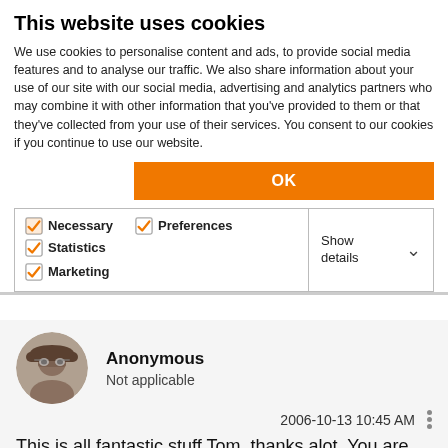This website uses cookies
We use cookies to personalise content and ads, to provide social media features and to analyse our traffic. We also share information about your use of our site with our social media, advertising and analytics partners who may combine it with other information that you've provided to them or that they've collected from your use of their services. You consent to our cookies if you continue to use our website.
OK
Necessary  Preferences  Statistics  Marketing  Show details
Anonymous
Not applicable
2006-10-13 10:45 AM
This is all fantastic stuff Tom, thanks alot. You are right the weekly meetings are easier with 20 than 200, but we do try to do that. It is also hard because I run my meetings as a bring your own lunch and I have to compete with the other free lunch meetings. One of the other problems we have is